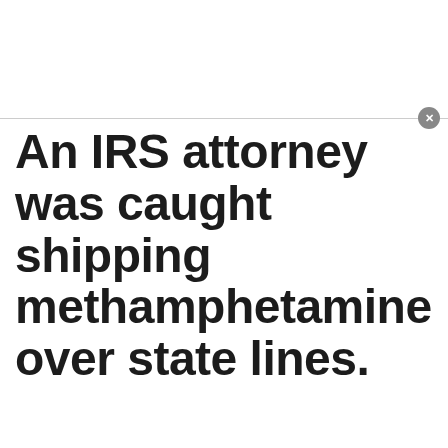[Figure (screenshot): Top advertisement banner area, white background with gray border at bottom and a circular close (X) button on the right side]
An IRS attorney was caught shipping methamphetamine over state lines.
Promoted  X
[Figure (photo): Left thumbnail: woman with short brown hair against orange background, appears to be a news anchor or politician]
[Figure (photo): Right thumbnail: black and white photo of person at desk with a play button overlay, suggesting a video]
[Figure (screenshot): Bottom bar with blue horizontal line and circular close (X) button, followed by white space footer area]